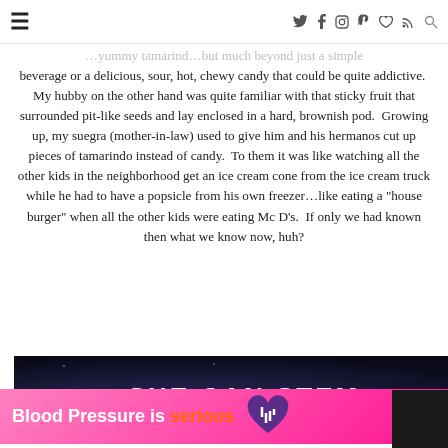≡  [nav icons: twitter, facebook, instagram, pinterest, heart, rss, search]
...yummy tamarind...but much beyond a just a simple beverage or a delicious, sour, hot, chewy candy that could be quite addictive. My hubby on the other hand was quite familiar with that sticky fruit that surrounded pit-like seeds and lay enclosed in a hard, brownish pod. Growing up, my suegra (mother-in-law) used to give him and his hermanos cut up pieces of tamarindo instead of candy. To them it was like watching all the other kids in the neighborhood get an ice cream cone from the ice cream truck while he had to have a popsicle from his own freezer...like eating a "house burger" when all the other kids were eating Mc D's. If only we had known then what we know now, huh?
[Figure (infographic): Dark banner advertisement reading SHE CAN STEM in large bold white text on dark navy/space background]
[Figure (infographic): Pink advertisement banner reading Blood Pressure is serious with heart logo icon]